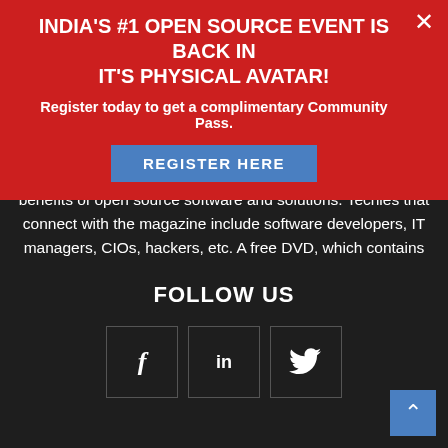INDIA'S #1 OPEN SOURCE EVENT IS BACK IN IT'S PHYSICAL AVATAR!
Register today to get a complimentary Community Pass.
[Figure (other): Blue 'REGISTER HERE' button]
benefits of open source software and solutions. Techies that connect with the magazine include software developers, IT managers, CIOs, hackers, etc. A free DVD, which contains the latest open source software and Linux distributions/OS, accompanies each issue of Open Source For You. The magazine is also associated with different events and online webinars on open source and related technologies.
FOLLOW US
[Figure (infographic): Three social media icon boxes: Facebook (f), LinkedIn (in), Twitter (bird icon)]